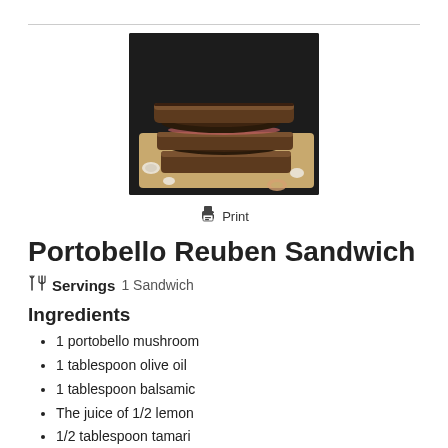[Figure (photo): A stacked portobello mushroom reuben sandwich photographed from the side on a wooden cutting board, dark background]
Print
Portobello Reuben Sandwich
Servings 1 Sandwich
Ingredients
1 portobello mushroom
1 tablespoon olive oil
1 tablespoon balsamic
The juice of 1/2 lemon
1/2 tablespoon tamari